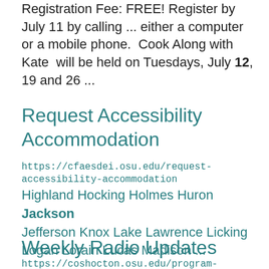Registration Fee: FREE! Register by July 11 by calling ... either a computer or a mobile phone.  Cook Along with Kate  will be held on Tuesdays, July 12, 19 and 26 ...
Request Accessibility Accommodation
https://cfaesdei.osu.edu/request-accessibility-accommodation
Highland Hocking Holmes Huron Jackson Jefferson Knox Lake Lawrence Licking Logan Lorain Lucas Madison ...
Weekly Radio Updates
https://coshocton.osu.edu/program-areas/4-h-